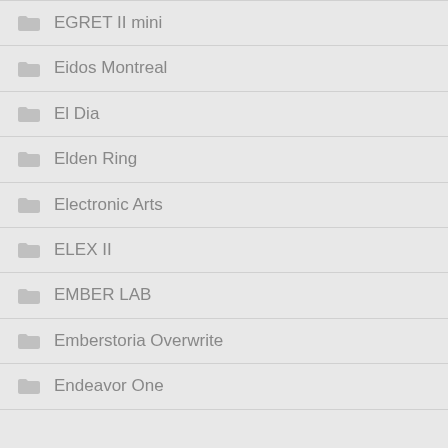EGRET II mini
Eidos Montreal
El Dia
Elden Ring
Electronic Arts
ELEX II
EMBER LAB
Emberstoria Overwrite
Endeavor One